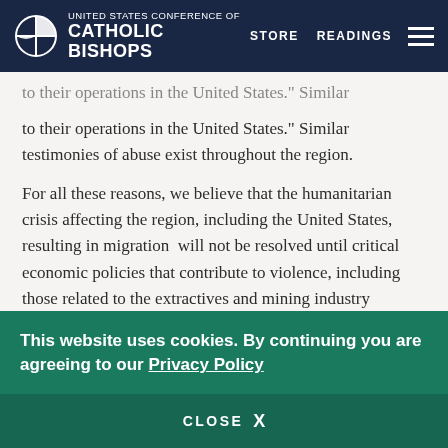UNITED STATES CONFERENCE OF CATHOLIC BISHOPS | STORE | READINGS
to their operations in the United States." Similar testimonies of abuse exist throughout the region.
For all these reasons, we believe that the humanitarian crisis affecting the region, including the United States, resulting in migration  will not be resolved until critical economic policies that contribute to violence, including those related to the extractives and mining industry operating in this region, are addressed and rectified. We support CELAM’s efforts to bring these matters to the attention of the global community and...
This website uses cookies. By continuing you are agreeing to our Privacy Policy
CLOSE  X